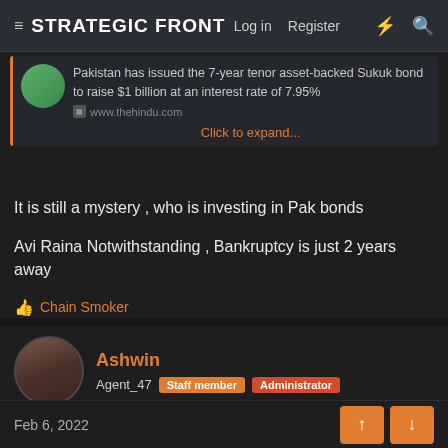STRATEGIC FRONT — Log in  Register
Pakistan has issued the 7-year tenor asset-backed Sukuk bond to raise $1 billion at an interest rate of 7.95%
www.thehindu.com
Click to expand...
It is still a mystery , who is investing in Pak bonds
Avi Raina Notwithstanding , Bankruptcy is just 2 years away
👍 Chain Smoker
Ashwin
Agent_47  Staff member  Administrator
Feb 6, 2022